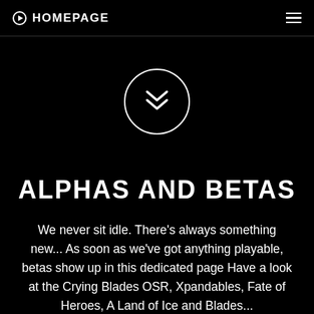HOMEPAGE
[Figure (illustration): A circular button with double chevron (down arrows) icon centered on a black background]
ALPHAS AND BETAS
We never sit idle. There's always something new... As soon as we've got anything playable, betas show up in this dedicated page Have a look at the Crying Blades OSR, Xpandables, Fate of Heroes, A Land of Ice and Blades...